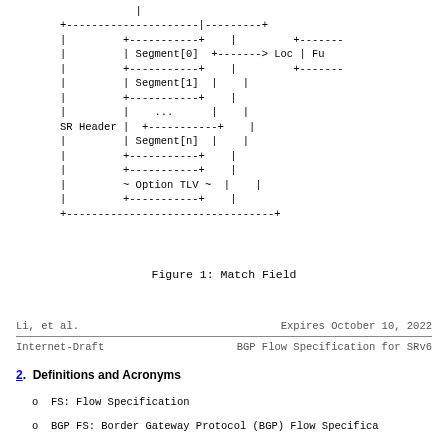[Figure (schematic): ASCII-art diagram showing SR Header structure with Segment[0] pointing to 'Loc | Fu', Segment[1], ..., Segment[n], and Option TLV fields enclosed in dashed borders]
Figure 1: Match Field
Li, et al.                    Expires October 10, 2022
Internet-Draft        BGP Flow Specification for SRv6
2. Definitions and Acronyms
o  FS: Flow Specification
o  BGP FS: Border Gateway Protocol (BGP) Flow Specifica...